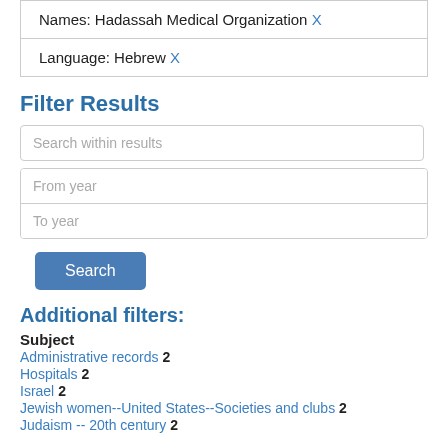Names: Hadassah Medical Organization X
Language: Hebrew X
Filter Results
Search within results
From year
To year
Search
Additional filters:
Subject
Administrative records 2
Hospitals 2
Israel 2
Jewish women--United States--Societies and clubs 2
Judaism -- 20th century 2